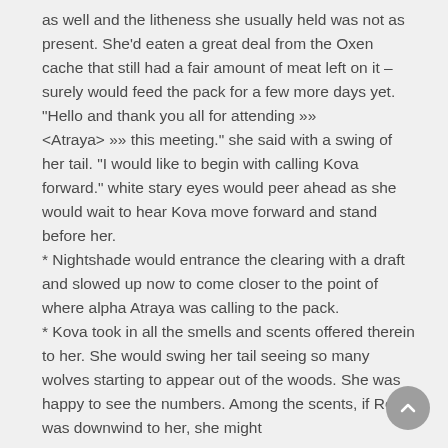as well and the litheness she usually held was not as present. She'd eaten a great deal from the Oxen cache that still had a fair amount of meat left on it – surely would feed the pack for a few more days yet. "Hello and thank you all for attending »» <Atraya> »» this meeting." she said with a swing of her tail. "I would like to begin with calling Kova forward." white stary eyes would peer ahead as she would wait to hear Kova move forward and stand before her.
* Nightshade would entrance the clearing with a draft and slowed up now to come closer to the point of where alpha Atraya was calling to the pack.
* Kova took in all the smells and scents offered therein to her. She would swing her tail seeing so many wolves starting to appear out of the woods. She was happy to see the numbers. Among the scents, if Rook was downwind to her, she might